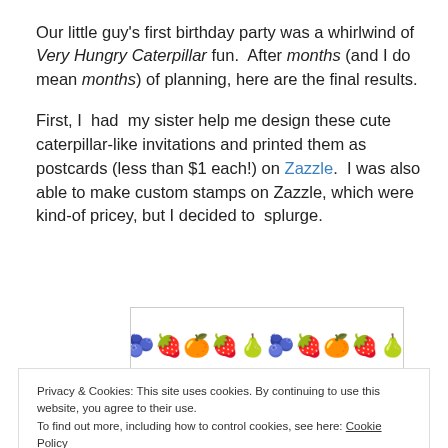Our little guy's first birthday party was a whirlwind of Very Hungry Caterpillar fun. After months (and I do mean months) of planning, here are the final results.
First, I had my sister help me design these cute caterpillar-like invitations and printed them as postcards (less than $1 each!) on Zazzle. I was also able to make custom stamps on Zazzle, which were kind-of pricey, but I decided to splurge.
[Figure (illustration): A row of colorful fruit/berry emoji icons (strawberries, pears, blueberries, oranges) arranged in a decorative horizontal strip inside a bordered box.]
Privacy & Cookies: This site uses cookies. By continuing to use this website, you agree to their use. To find out more, including how to control cookies, see here: Cookie Policy